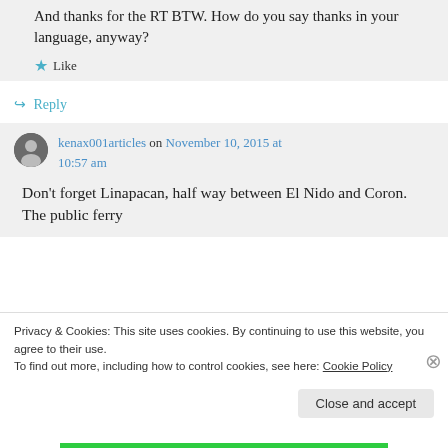And thanks for the RT BTW. How do you say thanks in your language, anyway?
★ Like
↪ Reply
kenax001articles on November 10, 2015 at 10:57 am
Don't forget Linapacan, half way between El Nido and Coron. The public ferry
Privacy & Cookies: This site uses cookies. By continuing to use this website, you agree to their use.
To find out more, including how to control cookies, see here: Cookie Policy
Close and accept